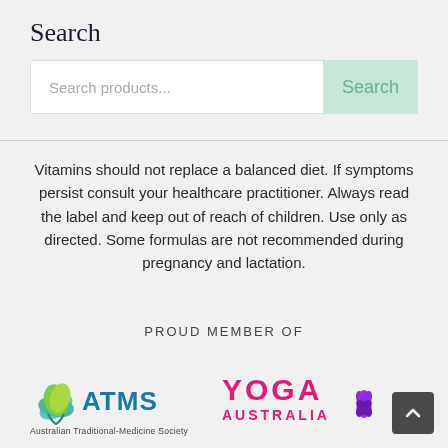Search
[Figure (screenshot): Search bar UI with text input field showing placeholder 'Search products...' and a mint-green Search button]
Vitamins should not replace a balanced diet. If symptoms persist consult your healthcare practitioner. Always read the label and keep out of reach of children. Use only as directed. Some formulas are not recommended during pregnancy and lactation.
PROUD MEMBER OF
[Figure (logo): ATMS (Australian Traditional-Medicine Society) logo — green/blue leaf and hands icon with 'ATMS' in teal and full name below]
[Figure (logo): Yoga Australia logo — pink/magenta text 'YOGA AUSTRALIA' with purple lotus flower icon]